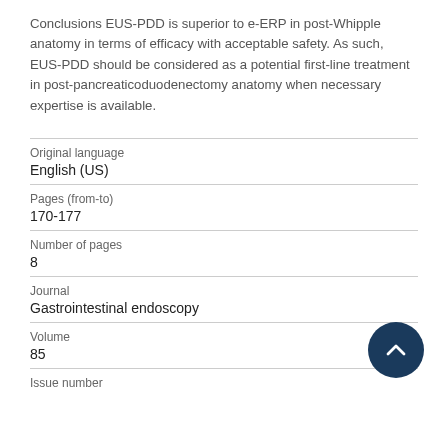Conclusions EUS-PDD is superior to e-ERP in post-Whipple anatomy in terms of efficacy with acceptable safety. As such, EUS-PDD should be considered as a potential first-line treatment in post-pancreaticoduodenectomy anatomy when necessary expertise is available.
| Original language | English (US) |
| Pages (from-to) | 170-177 |
| Number of pages | 8 |
| Journal | Gastrointestinal endoscopy |
| Volume | 85 |
| Issue number |  |